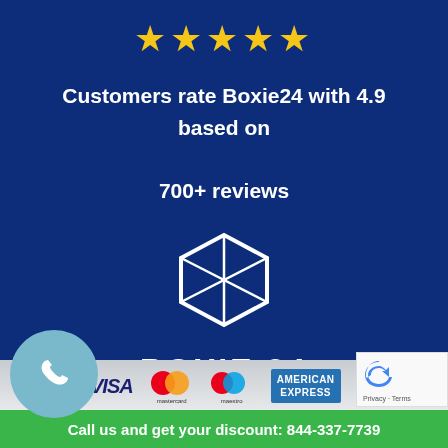[Figure (illustration): Five gold stars rating display on dark blue background]
Customers rate Boxie24 with 4.9 based on 700+ reviews
[Figure (logo): Boxie24 Self Storage logo — hexagonal box icon in white outline with internal division lines, company name BOXIE 24 SELF STORAGE in white text below]
[Figure (infographic): Bottom bar with phone icon circle, VISA, Mastercard, Maestro, American Express payment logos, and reCAPTCHA badge]
Call us and get your discount: 844-337-7739